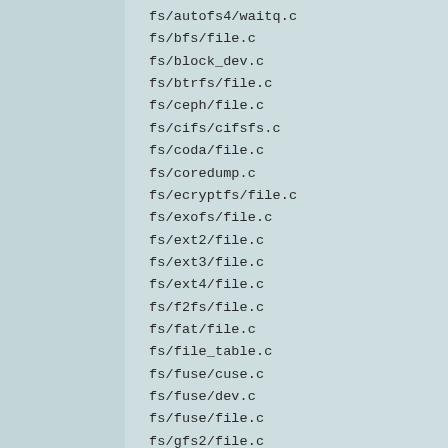fs/autofs4/waitq.c
fs/bfs/file.c
fs/block_dev.c
fs/btrfs/file.c
fs/ceph/file.c
fs/cifs/cifsfs.c
fs/coda/file.c
fs/coredump.c
fs/ecryptfs/file.c
fs/exofs/file.c
fs/ext2/file.c
fs/ext3/file.c
fs/ext4/file.c
fs/f2fs/file.c
fs/fat/file.c
fs/file_table.c
fs/fuse/cuse.c
fs/fuse/dev.c
fs/fuse/file.c
fs/gfs2/file.c
fs/hfs/inode.c
fs/hfsplus/inode.c
fs/hostfs/hostfs_kern.c
fs/hpfs/file.c
fs/hugetlbfs/inode.c
fs/jffs2/file.c
fs/jfs/file.c
fs/logfs/file.c
fs/minix/file.c
fs/ncpfs/file.c